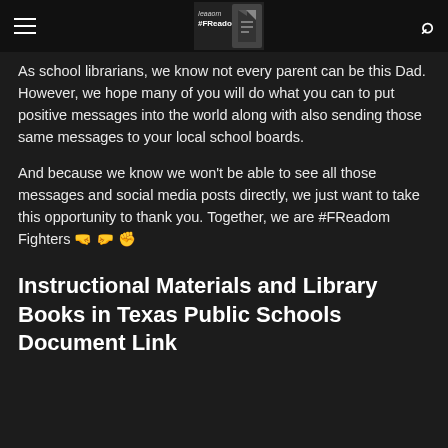#FReadom
As school librarians, we know not every parent can be this Dad. However, we hope many of you will do what you can to put positive messages into the world along with also sending those same messages to your local school boards.
And because we know we won't be able to see all those messages and social media posts directly, we just want to take this opportunity to thank you. Together, we are #FReadom Fighters 🤜🤛✊
Instructional Materials and Library Books in Texas Public Schools Document Link